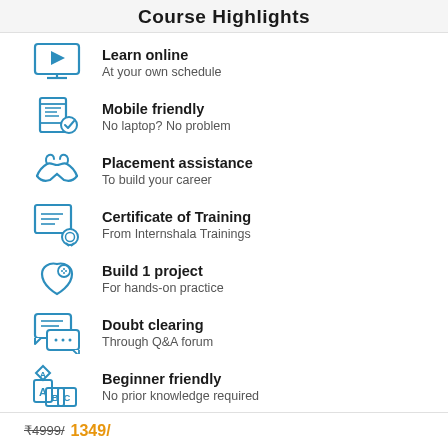Course Highlights
Learn online
At your own schedule
Mobile friendly
No laptop? No problem
Placement assistance
To build your career
Certificate of Training
From Internshala Trainings
Build 1 project
For hands-on practice
Doubt clearing
Through Q&A forum
Beginner friendly
No prior knowledge required
₹4999/ 1349/